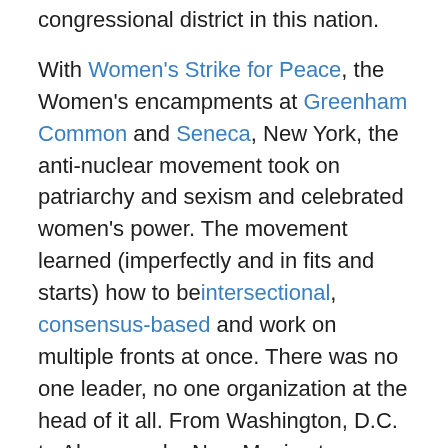congressional district in this nation. With Women's Strike for Peace, the Women's encampments at Greenham Common and Seneca, New York, the anti-nuclear movement took on patriarchy and sexism and celebrated women's power. The movement learned (imperfectly and in fits and starts) how to be intersectional, consensus-based and work on multiple fronts at once. There was no one leader, no one organization at the head of it all. From Washington, D.C. to Alamogordo, New Mexico to Bellingham, Washington, the movement encompassed  analysts and lobbyists in three piece suits wearing down their heels along the halls of power. Meanwhile, Greenpeace activists intercepted nuclear ships, peace activists blocked nuclear shipments on trains, Catholics exorcized nuclear facilities and held